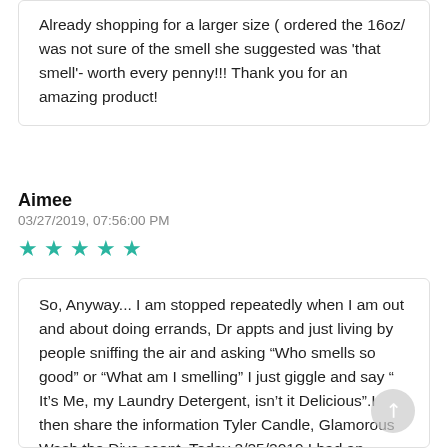Already shopping for a larger size ( ordered the 16oz/ was not sure of the smell she suggested was 'that smell'- worth every penny!!! Thank you for an amazing product!
Aimee
03/27/2019, 07:56:00 PM
[Figure (other): Five teal/green star rating icons]
So, Anyway... I am stopped repeatedly when I am out and about doing errands, Dr appts and just living by people sniffing the air and asking “Who smells so good” or “What am I smelling” I just giggle and say “ It’s Me, my Laundry Detergent, isn’t it Delicious”.I then share the information Tyler Candle, Glamorous Wash the Diva scent. Today 2/25/2019 I had an employee of the Pharmacy I buy my meds from come up to me and say” I just have to ask what you have on?” I am taking a